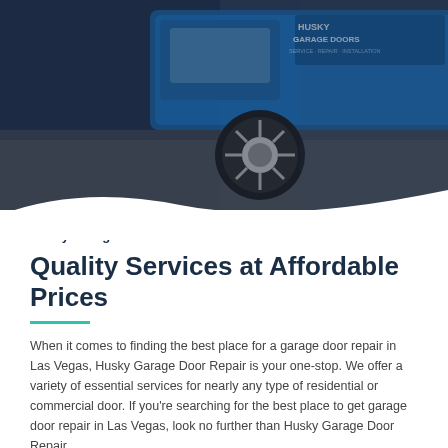[Figure (photo): A blue service truck branded 'Husky Garage Doors - Service, Repair, Installation' photographed from a low angle showing the wheel and side of the vehicle against a dark blue overlay background.]
Husky Garage Doors
Quality Services at Affordable Prices
When it comes to finding the best place for a garage door repair in Las Vegas, Husky Garage Door Repair is your one-stop. We offer a variety of essential services for nearly any type of residential or commercial door. If you're searching for the best place to get garage door repair in Las Vegas, look no further than Husky Garage Door Repair.
• Garage Door Repair